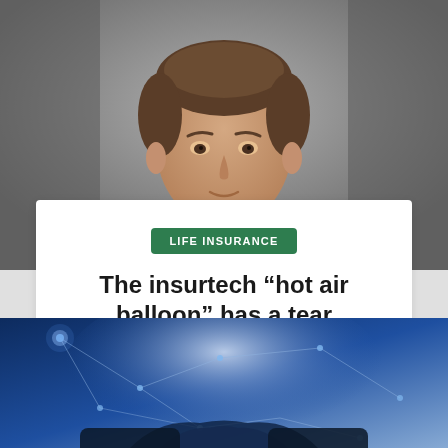[Figure (photo): Close-up portrait of a man with dark hair against a blurred grey background]
LIFE INSURANCE
The insurtech “hot air balloon” has a tear
By Admin  2 hours ago
[Figure (photo): Technology network concept image showing connected nodes and light effects with two people shaking hands in blue tones]